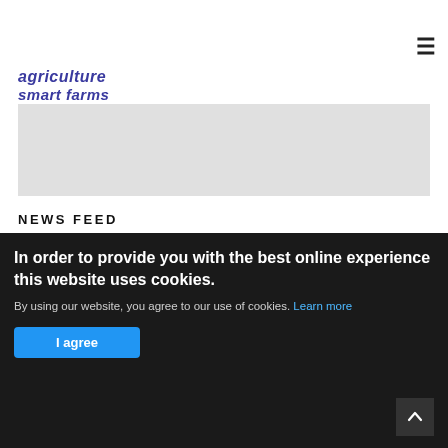≡
agriculture
smart farms
[Figure (photo): Faded banner/hero image placeholder with light gray background]
NEWS FEED
▼ 2022 (153)
▼ August (20)
> Drones to map spaces that host animals agri-culture
In order to provide you with the best online experience this website uses cookies.
By using our website, you agree to our use of cookies. Learn more
I agree